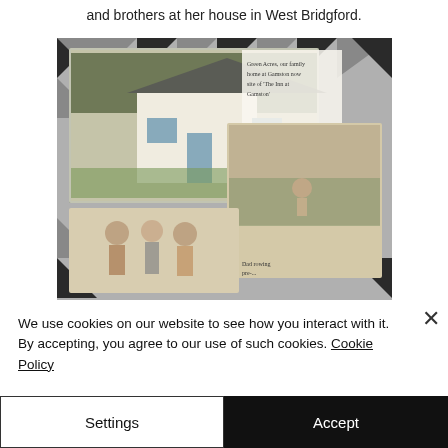and brothers at her house in West Bridgford.
[Figure (photo): A collage of vintage family photographs on a patterned background. Top left shows a house called Green Acres, family home at Gamston. Top right shows a child outdoors. Bottom left shows a family group of three people. Handwritten captions visible.]
We use cookies on our website to see how you interact with it. By accepting, you agree to our use of such cookies. Cookie Policy
Settings
Accept